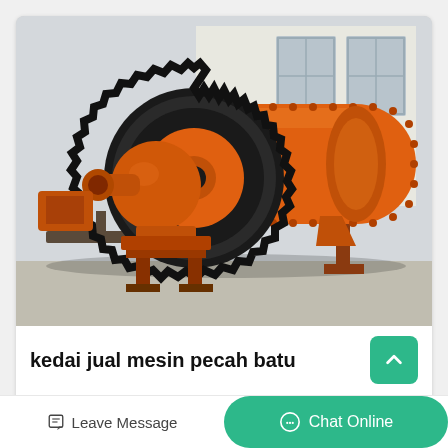[Figure (photo): Large orange ball mill industrial grinding machine with gear wheel, photographed outdoors on a concrete surface. The machine has a large cylindrical drum with bolts and a prominent spur gear on the left side.]
kedai jual mesin pecah batu
Batu split / batu pecah / batu belah adalah material bangunan yang
Leave Message
Chat Online